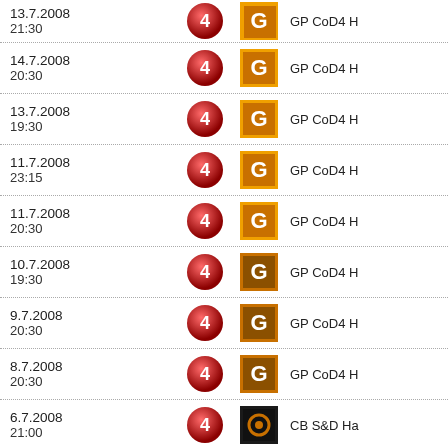13.7.2008 21:30 | Channel 4 | GP CoD4 H
14.7.2008 20:30 | Channel 4 | GP CoD4 H
13.7.2008 19:30 | Channel 4 | GP CoD4 H
11.7.2008 23:15 | Channel 4 | GP CoD4 H
11.7.2008 20:30 | Channel 4 | GP CoD4 H
10.7.2008 19:30 | Channel 4 | GP CoD4 H
9.7.2008 20:30 | Channel 4 | GP CoD4 H
8.7.2008 20:30 | Channel 4 | GP CoD4 H
6.7.2008 21:00 | Channel 4 | CB S&D Ha
5.7.2008 20:30 | Channel 4 | CB S&D Ha